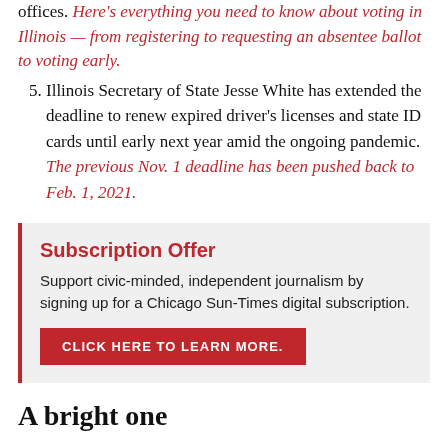Here's everything you need to know about voting in Illinois — from registering to requesting an absentee ballot to voting early.
Illinois Secretary of State Jesse White has extended the deadline to renew expired driver's licenses and state ID cards until early next year amid the ongoing pandemic. The previous Nov. 1 deadline has been pushed back to Feb. 1, 2021.
Subscription Offer
Support civic-minded, independent journalism by signing up for a Chicago Sun-Times digital subscription.
CLICK HERE TO LEARN MORE.
A bright one